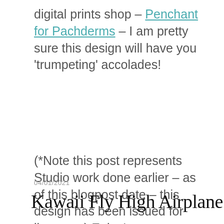digital prints shop – Penchant for Pachderms – I am pretty sure this design will have you 'trumpeting' accolades!
(*Note this post represents Studio work done earlier – as of this blogpost date – this design has been issued for licensure) Enjoy!
04/01/2021
Kawaii Fly High Airplane